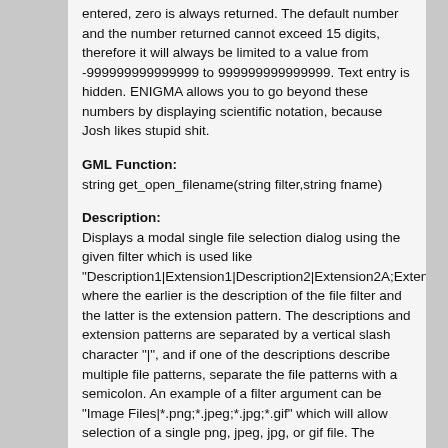entered, zero is always returned. The default number and the number returned cannot exceed 15 digits, therefore it will always be limited to a value from -999999999999999 to 999999999999999. Text entry is hidden. ENIGMA allows you to go beyond these numbers by displaying scientific notation, because Josh likes stupid shit.
GML Function:
string get_open_filename(string filter,string fname)
Description:
Displays a modal single file selection dialog using the given filter which is used like "Description1|Extension1|Description2|Extension2A;Extension2B" where the earlier is the description of the file filter and the latter is the extension pattern. The descriptions and extension patterns are separated by a vertical slash character "|", and if one of the descriptions describe multiple file patterns, separate the file patterns with a semicolon. An example of a filter argument can be "Image Files|*.png;*.jpeg;*.jpg;*.gif" which will allow selection of a single png, jpeg, jpg, or gif file. The second argument is the default file name for the dialog to have in the text box. When "Cancel" is chosen an empty string is returned, otherwise the file selected is returned.
GML Function:
string get_open_filename_ext(string filter,string fname,string dir,string title)
Description:
Displays a modal single file selection dialog using the given filter which is used like